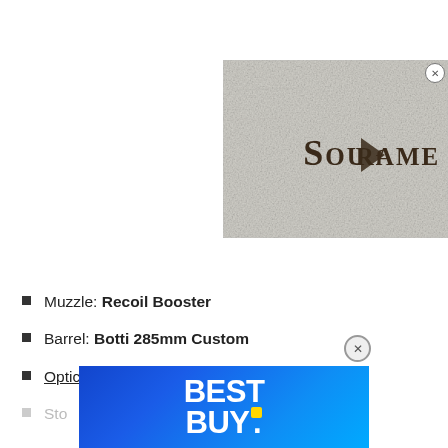[Figure (screenshot): Soulframe video thumbnail with gothic style text and a play button overlay, partially cut off on right side with close X button]
Muzzle: Recoil Booster
Barrel: Botti 285mm Custom
Optic: Slate Reflector
Sto[ck — obscured by ad banner]
[Figure (advertisement): Best Buy advertisement banner in blue with yellow dot]